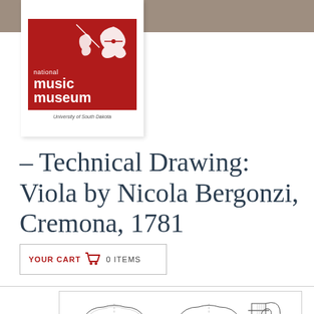[Figure (logo): National Music Museum logo — red background with white violin silhouette and text 'national music museum, University of South Dakota']
- Technical Drawing: Viola by Nicola Bergonzi, Cremona, 1781
YOUR CART  0 ITEMS
[Figure (illustration): Technical drawing of a viola by Nicola Bergonzi, Cremona, 1781, showing front and back views with scroll detail and measurement annotations]